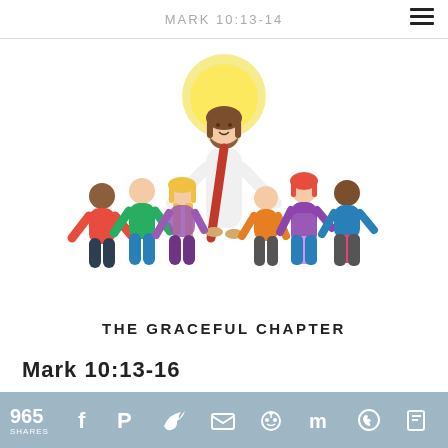MARK 10:13-14
[Figure (illustration): Cartoon illustration of Jesus in white robe with red sash surrounded by diverse children of different ethnicities, all smiling and standing together]
THE GRACEFUL CHAPTER
Mark 10:13-16
965 SHARES — social share icons: Facebook, Pinterest, Twitter, Email, Reddit, StumbleUpon, Flipboard, WhatsApp, Flipboard